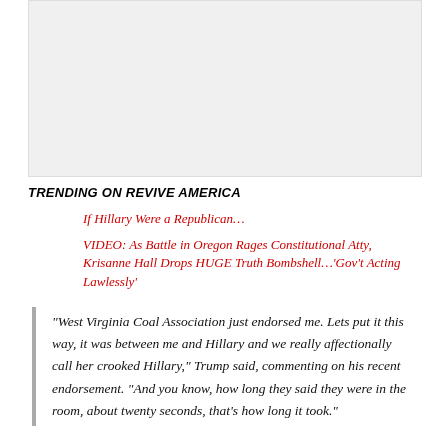[Figure (other): Gray advertisement placeholder rectangle]
TRENDING ON REVIVE AMERICA
If Hillary Were a Republican…
VIDEO: As Battle in Oregon Rages Constitutional Atty, Krisanne Hall Drops HUGE Truth Bombshell…'Gov't Acting Lawlessly'
“West Virginia Coal Association just endorsed me. Lets put it this way, it was between me and Hillary and we really affectionally call her crooked Hillary,” Trump said, commenting on his recent endorsement. “And you know, how long they said they were in the room, about twenty seconds, that’s how long it took.”